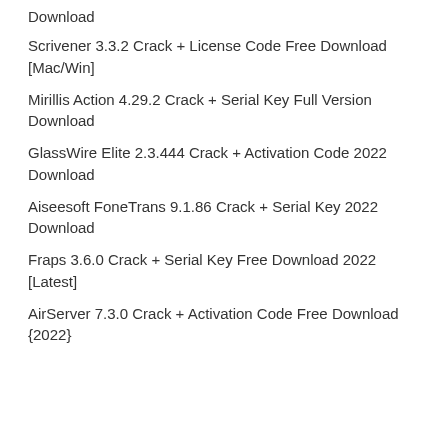Download
Scrivener 3.3.2 Crack + License Code Free Download [Mac/Win]
Mirillis Action 4.29.2 Crack + Serial Key Full Version Download
GlassWire Elite 2.3.444 Crack + Activation Code 2022 Download
Aiseesoft FoneTrans 9.1.86 Crack + Serial Key 2022 Download
Fraps 3.6.0 Crack + Serial Key Free Download 2022 [Latest]
AirServer 7.3.0 Crack + Activation Code Free Download {2022}